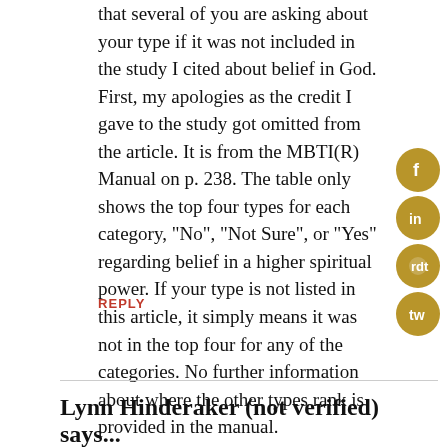that several of you are asking about your type if it was not included in the study I cited about belief in God. First, my apologies as the credit I gave to the study got omitted from the article. It is from the MBTI(R) Manual on p. 238. The table only shows the top four types for each category, "No", "Not Sure", or "Yes" regarding belief in a higher spiritual power. If your type is not listed in this article, it simply means it was not in the top four for any of the categories. No further information about where the other types rank is provided in the manual.
REPLY
Lynn Hinderaker (not verified) says...